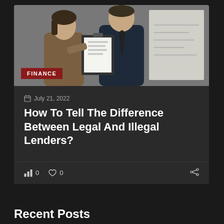[Figure (photo): Two business professionals, a woman in a brown blazer and a man in a dark suit with a tie, looking at documents on a clipboard or tablet together in an office setting with a whiteboard in background. A red 'FINANCE' badge is overlaid at the bottom left of the image.]
July 21, 2022
How To Tell The Difference Between Legal And Illegal Lenders?
0  0
Recent Posts